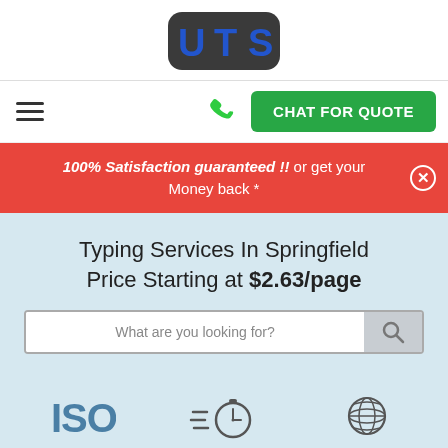[Figure (logo): UTS logo - dark rounded rectangle background with blue bold text 'UTS']
Navigation bar with hamburger menu, phone icon, and CHAT FOR QUOTE button
100% Satisfaction guaranteed !! or get your Money back *
Typing Services In Springfield Price Starting at $2.63/page
What are you looking for?
[Figure (infographic): ISO 9001:2015 certification icon]
[Figure (infographic): Rush & delivery stopwatch icon]
[Figure (infographic): 100+ globe/worldwide icon]
ISO 9001:2015
Rush &
100+